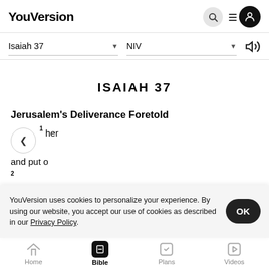YouVersion
Isaiah 37  NIV
ISAIAH 37
Jerusalem's Deliverance Foretold
1 ...her ...and put o... 2
YouVersion uses cookies to personalize your experience. By using our website, you accept our use of cookies as described in our Privacy Policy.
Home  Bible  Plans  Videos